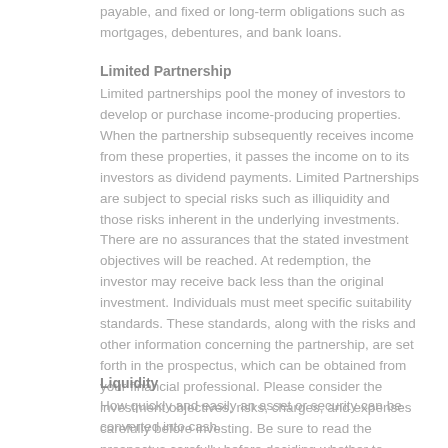payable, and fixed or long-term obligations such as mortgages, debentures, and bank loans.
Limited Partnership
Limited partnerships pool the money of investors to develop or purchase income-producing properties. When the partnership subsequently receives income from these properties, it passes the income on to its investors as dividend payments. Limited Partnerships are subject to special risks such as illiquidity and those risks inherent in the underlying investments. There are no assurances that the stated investment objectives will be reached. At redemption, the investor may receive back less than the original investment. Individuals must meet specific suitability standards. These standards, along with the risks and other information concerning the partnership, are set forth in the prospectus, which can be obtained from your financial professional. Please consider the investment objectives, risks, charges, and expenses carefully before investing. Be sure to read the prospectus carefully before deciding whether to invest.
Liquidity
How quickly and easily an asset or security can be converted into cash.